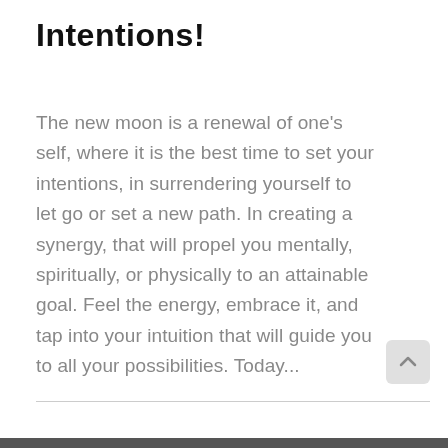Intentions!
The new moon is a renewal of one's self, where it is the best time to set your intentions, in surrendering yourself to let go or set a new path. In creating a synergy, that will propel you mentally, spiritually, or physically to an attainable goal. Feel the energy, embrace it, and tap into your intuition that will guide you to all your possibilities. Today...